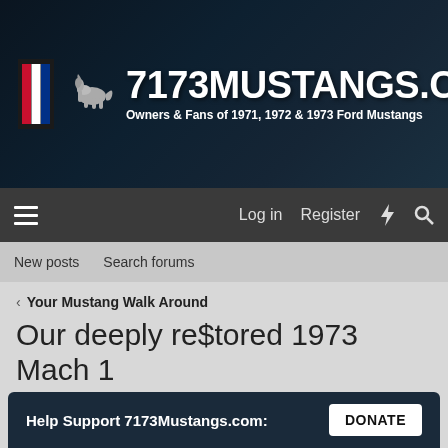7173MUSTANGS.COM — Owners & Fans of 1971, 1972 & 1973 Ford Mustangs
[Figure (logo): 7173Mustangs.com website header with running pony logo, tricolor flag, site name and tagline]
Log in   Register
New posts   Search forums
< Your Mustang Walk Around
Our deeply re$tored 1973 Mach 1
mrgmhale · Jan 9, 2022
Help Support 7173Mustangs.com:   DONATE